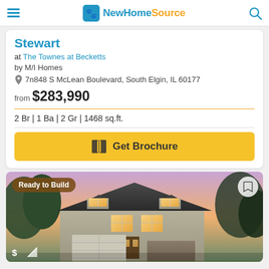NewHomeSource
Stewart
at The Townes at Becketts
by M/I Homes
7n848 S McLean Boulevard, South Elgin, IL 60177
from $283,990
2 Br | 1 Ba | 2 Gr | 1468 sq.ft.
Get Brochure
[Figure (photo): Exterior rendering of a two-story craftsman style home with gray siding, stone accents, covered entry, and two-car garage. Badge reading 'Ready to Build' in upper left corner.]